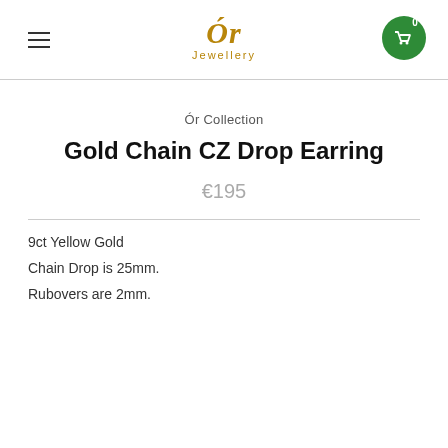Ór Jewellery — navigation header with logo and cart
Ór Collection
Gold Chain CZ Drop Earring
€195
9ct Yellow Gold
Chain Drop is 25mm.
Rubovers are 2mm.